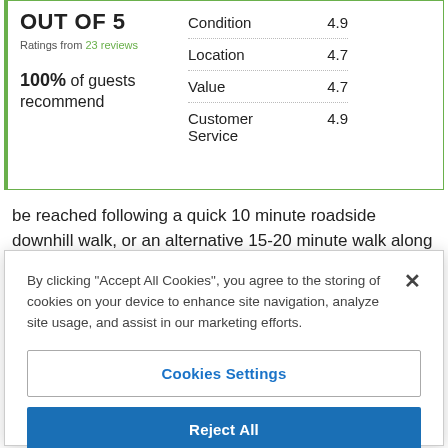| Category | Score |
| --- | --- |
| Condition | 4.9 |
| Location | 4.7 |
| Value | 4.7 |
| Customer Service | 4.9 |
OUT OF 5
Ratings from 23 reviews
100% of guests recommend
be reached following a quick 10 minute roadside downhill walk, or an alternative 15-20 minute walk along the tree-lined
By clicking "Accept All Cookies", you agree to the storing of cookies on your device to enhance site navigation, analyze site usage, and assist in our marketing efforts.
Cookies Settings
Reject All
Accept All Cookies